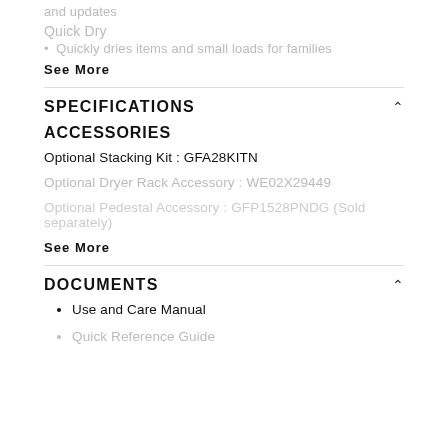and updates
Quick Dry
Quickly dries items and small loads for families
See More
SPECIFICATIONS
ACCESSORIES
Optional Stacking Kit : GFA28KITN
Optional Dryer Rack Accessory : WE02X29449
Optional Pedestal Accessory : GFP1528PNDG (Sold separately)
See More
DOCUMENTS
Use and Care Manual
Quick Reference Guide